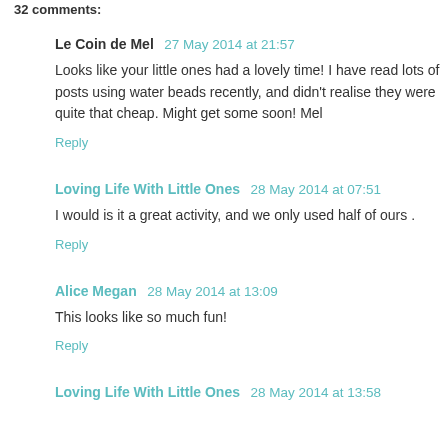32 comments:
Le Coin de Mel  27 May 2014 at 21:57
Looks like your little ones had a lovely time! I have read lots of posts using water beads recently, and didn't realise they were quite that cheap. Might get some soon! Mel
Reply
Loving Life With Little Ones  28 May 2014 at 07:51
I would is it a great activity, and we only used half of ours .
Reply
Alice Megan  28 May 2014 at 13:09
This looks like so much fun!
Reply
Loving Life With Little Ones  28 May 2014 at 13:58